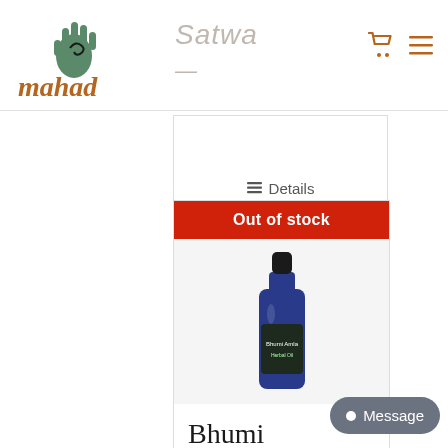[Figure (logo): Mahad herbal brand logo with hand and swirl icon above handwritten 'mahad' text in brown/orange]
Satwa
Details
Out of stock
[Figure (photo): Blue glass dropper bottle labeled 'Bhumi Amla' herbal product on white/grey background]
Bhumi Amla Herbal
Message